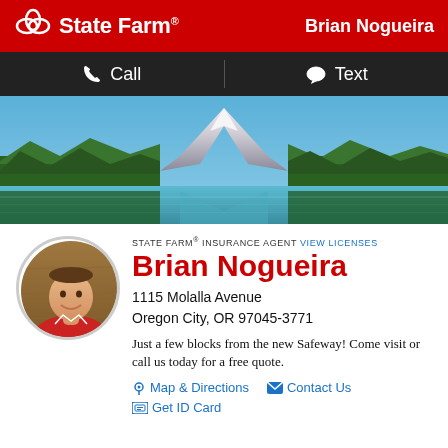[Figure (logo): State Farm logo with three interlocking ovals and 'State Farm' wordmark in white on red background]
Brian Nogueira
Call    Text
[Figure (photo): Landscape photo of Mount Hood reflected in a lake surrounded by pine trees]
[Figure (photo): Circular portrait photo of Brian Nogueira, a man in a red shirt, smiling]
STATE FARM® INSURANCE AGENT VIEW LICENSES
Brian Nogueira
1115 Molalla Avenue
Oregon City, OR 97045-3771
Just a few blocks from the new Safeway! Come visit or call us today for a free quote.
Map & Directions    Contact Us
Get ID Card